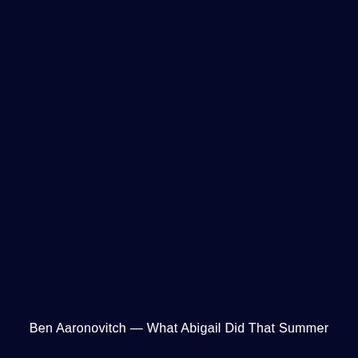[Figure (illustration): Dark navy/near-black background covering nearly the entire page, resembling a book cover image.]
Ben Aaronovitch — What Abigail Did That Summer